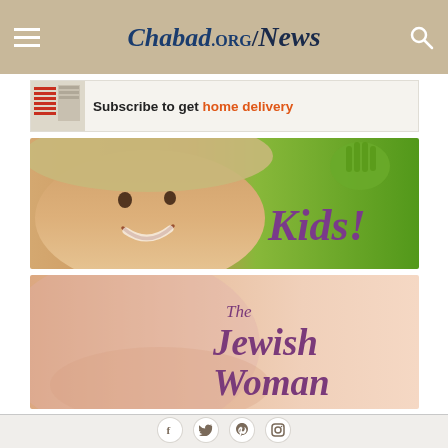Chabad.ORG / News
[Figure (screenshot): Subscribe to get home delivery banner with newspaper icon]
[Figure (screenshot): Chabad.org Kids! banner with smiling child in hat and green background]
[Figure (screenshot): The Jewish Woman banner with soft peach background and stylized text]
[Figure (screenshot): Social media icons row: Facebook, Twitter, Pinterest, Instagram in circular buttons]
Login
Home • Donate • Contact Us • Ask The Rabbi
English
Terms & Privacy • © 2022 Chabad.org